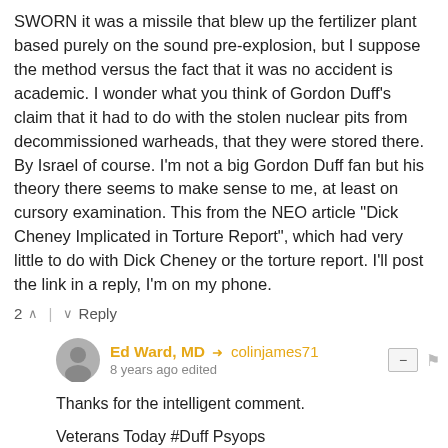SWORN it was a missile that blew up the fertilizer plant based purely on the sound pre-explosion, but I suppose the method versus the fact that it was no accident is academic. I wonder what you think of Gordon Duff's claim that it had to do with the stolen nuclear pits from decommissioned warheads, that they were stored there. By Israel of course. I'm not a big Gordon Duff fan but his theory there seems to make sense to me, at least on cursory examination. This from the NEO article "Dick Cheney Implicated in Torture Report", which had very little to do with Dick Cheney or the torture report. I'll post the link in a reply, I'm on my phone.
2 ↑ | ↓ Reply
Ed Ward, MD → colinjames71
8 years ago edited
Thanks for the intelligent comment.

Veterans Today #Duff Psyops
https://edwardmd.wordpress....

Gordon Duff on Gordon Duff and Veterans Today: